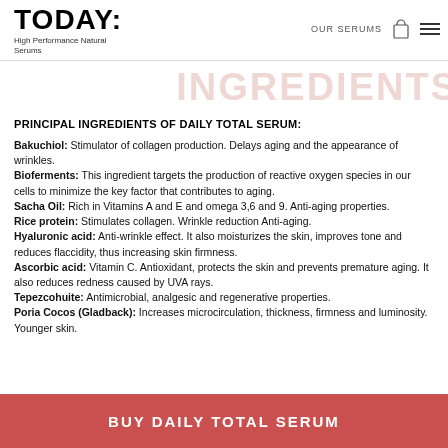TODAY: High Performance Natural Serums | OUR SERUMS
INGREDIENTS
PRINCIPAL INGREDIENTS OF DAILY TOTAL SERUM:
Bakuchiol: Stimulator of collagen production. Delays aging and the appearance of wrinkles. Bioferments: This ingredient targets the production of reactive oxygen species in our cells to minimize the key factor that contributes to aging. Sacha Oil: Rich in Vitamins A and E and omega 3,6 and 9. Anti-aging properties. Rice protein: Stimulates collagen. Wrinkle reduction Anti-aging. Hyaluronic acid: Anti-wrinkle effect. It also moisturizes the skin, improves tone and reduces flaccidity, thus increasing skin firmness. Ascorbic acid: Vitamin C. Antioxidant, protects the skin and prevents premature aging. It also reduces redness caused by UVA rays. Tepezcohuite: Antimicrobial, analgesic and regenerative properties. Poria Cocos (Gladback): Increases microcirculation, thickness, firmness and luminosity. Younger skin.
BUY DAILY TOTAL SERUM